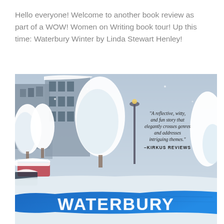Hello everyone! Welcome to another book review as part of a WOW! Women on Writing book tour! Up this time: Waterbury Winter by Linda Stewart Henley!
[Figure (photo): Book cover of 'Waterbury Winter' by Linda Stewart Henley. Shows a snowy winter street scene with snow-covered trees and parked cars. A blue brushstroke banner at the bottom shows the title 'WATERBURY' in white letters. A quote on the right reads: 'A reflective, witty, and fun story that elegantly crosses genres and addresses intriguing themes.' — KIRKUS REVIEWS]